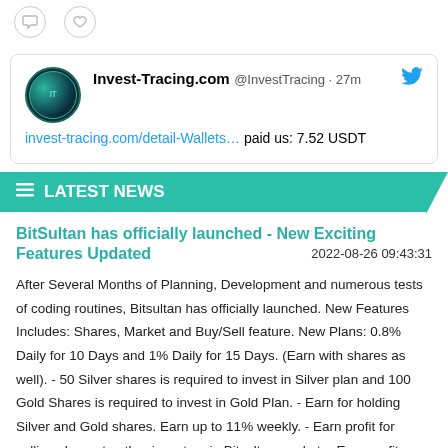[Figure (screenshot): Social media icons: comment bubble and heart, shown as outline circle icons]
[Figure (screenshot): Tweet card from Invest-Tracing.com (@InvestTracing) posted 27 minutes ago with Twitter bird logo. Content: invest-tracing.com/detail-Wallets... paid us: 7.52 USDT]
LATEST NEWS
BitSultan has officially launched - New Exciting Features Updated
2022-08-26 09:43:31
After Several Months of Planning, Development and numerous tests of coding routines, Bitsultan has officially launched. New Features Includes: Shares, Market and Buy/Sell feature. New Plans: 0.8% Daily for 10 Days and 1% Daily for 15 Days. (Earn with shares as well). - 50 Silver shares is required to invest in Silver plan and 100 Gold Shares is required to invest in Gold Plan. - Earn for holding Silver and Gold shares. Earn up to 11% weekly. - Earn profit for selling shares to other investors in Bitsultan market. - Earn profit when Share price rises. - Generate income from over 5 sources, check Bitsultan's FAQs and How to page for more information. Best of Luck, Bitsultan Management. https://www.bitsultan.biz